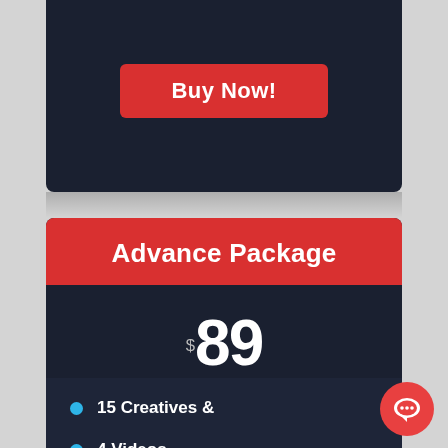[Figure (other): Buy Now button on dark navy background card (partial, top of page)]
Advance Package
$89
15 Creatives &
4 Videos
Up Creatives Social Media Posts (partially visible)